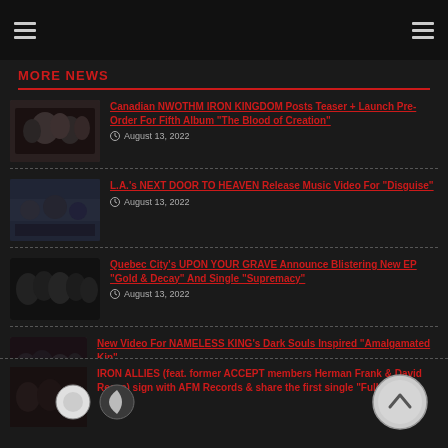Navigation header with hamburger menus
MORE NEWS
Canadian NWOTHM IRON KINGDOM Posts Teaser + Launch Pre-Order For Fifth Album "The Blood of Creation" — August 13, 2022
L.A.'s NEXT DOOR TO HEAVEN Release Music Video For "Disguise" — August 13, 2022
Quebec City's UPON YOUR GRAVE Announce Blistering New EP "Gold & Decay" And Single "Supremacy" — August 13, 2022
New Video For NAMELESS KING's Dark Souls Inspired "Amalgamated Kin" — August 13, 2022
IRON ALLIES (feat. former ACCEPT members Herman Frank & David Reece) sign with AFM Records & share the first single "Full of